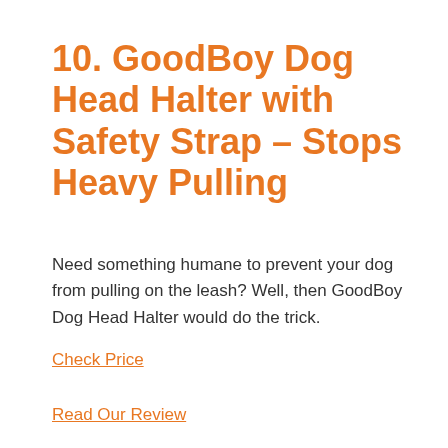10. GoodBoy Dog Head Halter with Safety Strap – Stops Heavy Pulling
Need something humane to prevent your dog from pulling on the leash? Well, then GoodBoy Dog Head Halter would do the trick.
Check Price
Read Our Review